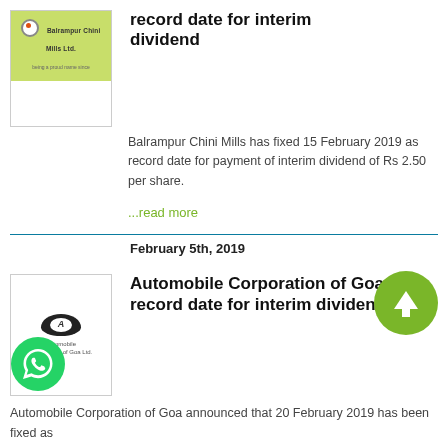record date for interim dividend
[Figure (logo): Balrampur Chini Mills Ltd. logo with green background]
Balrampur Chini Mills has fixed 15 February 2019 as record date for payment of interim dividend of Rs 2.50 per share.
...read more
February 5th, 2019
Automobile Corporation of Goa fixes record date for interim dividend
[Figure (logo): Automobile Corporation of Goa Ltd. logo]
Automobile Corporation of Goa announced that 20 February 2019 has been fixed as